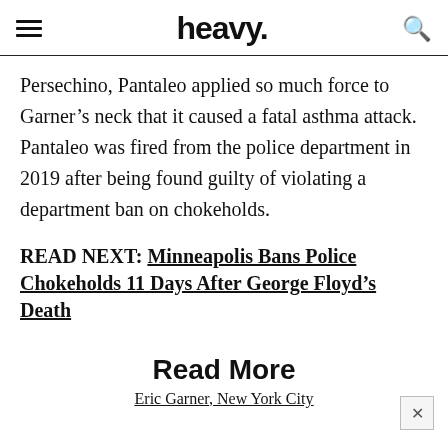heavy.
Persechino, Pantaleo applied so much force to Garner’s neck that it caused a fatal asthma attack. Pantaleo was fired from the police department in 2019 after being found guilty of violating a department ban on chokeholds.
READ NEXT: Minneapolis Bans Police Chokeholds 11 Days After George Floyd’s Death
Read More
Eric Garner, New York City